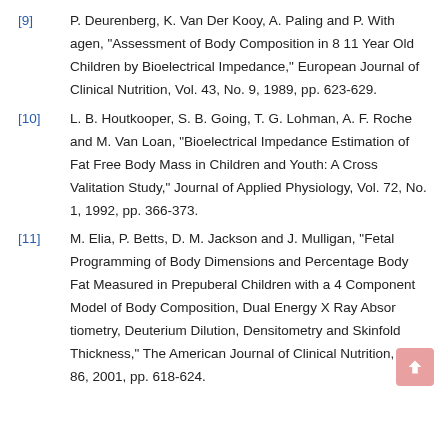[9] P. Deurenberg, K. Van Der Kooy, A. Paling and P. With agen, "Assessment of Body Composition in 8 11 Year Old Children by Bioelectrical Impedance," European Journal of Clinical Nutrition, Vol. 43, No. 9, 1989, pp. 623-629.
[10] L. B. Houtkooper, S. B. Going, T. G. Lohman, A. F. Roche and M. Van Loan, "Bioelectrical Impedance Estimation of Fat Free Body Mass in Children and Youth: A Cross Valitation Study," Journal of Applied Physiology, Vol. 72, No. 1, 1992, pp. 366-373.
[11] M. Elia, P. Betts, D. M. Jackson and J. Mulligan, "Fetal Programming of Body Dimensions and Percentage Body Fat Measured in Prepuberal Children with a 4 Component Model of Body Composition, Dual Energy X Ray Absor tiometry, Deuterium Dilution, Densitometry and Skinfold Thickness," The American Journal of Clinical Nutrition, Vol. 86, 2001, pp. 618-624.